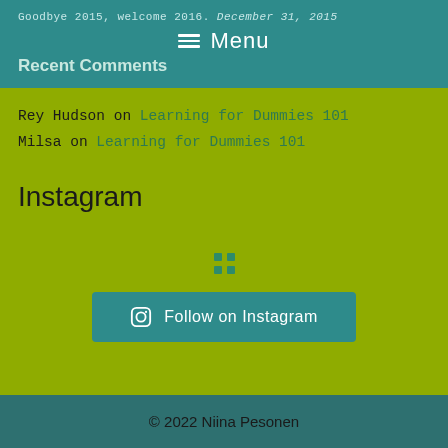Goodbye 2015, welcome 2016. December 31, 2015
≡  Menu
Recent Comments
Rey Hudson on Learning for Dummies 101
Milsa on Learning for Dummies 101
Instagram
[Figure (other): Four dot grid loading indicator for Instagram widget]
Follow on Instagram
© 2022 Niina Pesonen